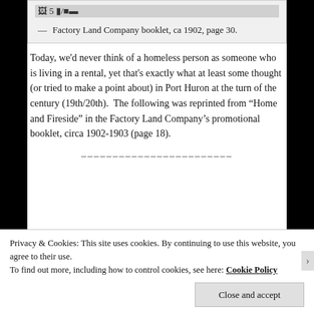[Figure (screenshot): Top portion of a scanned image from Factory Land Company booklet, partially visible at top of page]
— Factory Land Company booklet, ca 1902, page 30.
Today, we'd never think of a homeless person as someone who is living in a rental, yet that's exactly what at least some thought (or tried to make a point about) in Port Huron at the turn of the century (19th/20th).  The following was reprinted from “Home and Fireside” in the Factory Land Company's promotional booklet, circa 1902-1903 (page 18).
________________________
Privacy & Cookies: This site uses cookies. By continuing to use this website, you agree to their use.
To find out more, including how to control cookies, see here: Cookie Policy